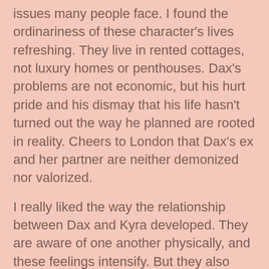issues many people face. I found the ordinariness of these character's lives refreshing. They live in rented cottages, not luxury homes or penthouses. Dax's problems are not economic, but his hurt pride and his dismay that his life hasn't turned out the way he planned are rooted in reality. Cheers to London that Dax's ex and her partner are neither demonized nor valorized.
I really liked the way the relationship between Dax and Kyra developed. They are aware of one another physically, and these feelings intensify. But they also grow to like each other, to enjoy each other's company, to share each other's lives. Ruby is a real kid, although a bit precocious. She is sweet and saucy, funny--sometimes unintentionally--excited about her world, and totally endearing, but sometimes she is cross and disobedient and talkative enough to make a parent long for bedtime. Her relationship with Dax is heartwarming and as